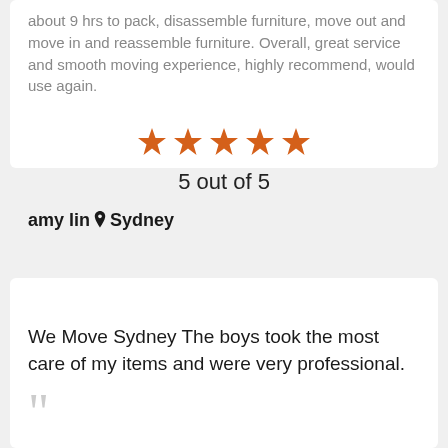…about 9 hrs to pack, disassemble furniture, move out and move in and reassemble furniture. Overall, great service and smooth moving experience, highly recommend, would use again.
[Figure (infographic): Five orange stars rating display]
5 out of 5
amy lin 📍 Sydney
We Move Sydney The boys took the most care of my items and were very professional.